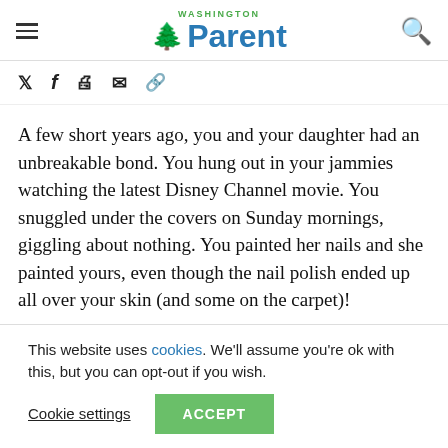Washington Parent
A few short years ago, you and your daughter had an unbreakable bond. You hung out in your jammies watching the latest Disney Channel movie. You snuggled under the covers on Sunday mornings, giggling about nothing. You painted her nails and she painted yours, even though the nail polish ended up all over your skin (and some on the carpet)!
This website uses cookies. We'll assume you're ok with this, but you can opt-out if you wish.
Cookie settings  ACCEPT